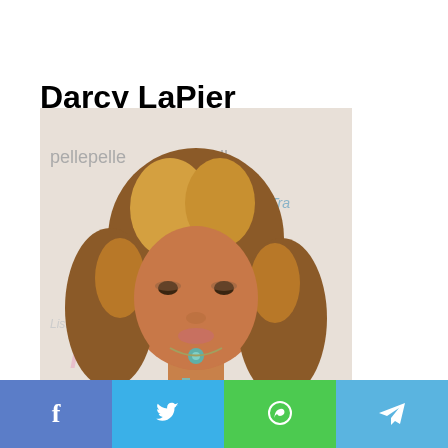Darcy LaPier Biography
[Figure (photo): Photo of Darcy LaPier at a Pelle Pelle event, woman with curly blonde-highlighted hair wearing a teal/turquoise dress with a gemstone necklace, posed in front of branded step-and-repeat backdrop]
Social share bar with Facebook, Twitter, WhatsApp, and Telegram icons